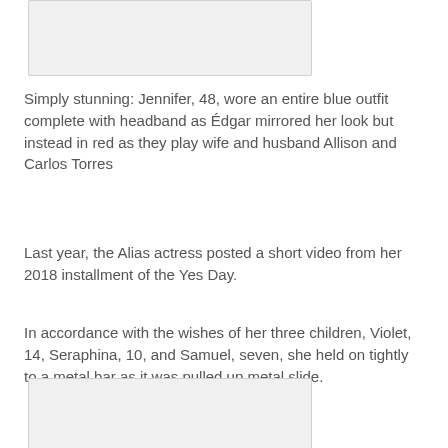[Figure (photo): Partial view of a photo at the top of the page]
Simply stunning: Jennifer, 48, wore an entire blue outfit complete with headband as Édgar mirrored her look but instead in red as they play wife and husband Allison and Carlos Torres
Last year, the Alias actress posted a short video from her 2018 installment of the Yes Day.
In accordance with the wishes of her three children, Violet, 14, Seraphina, 10, and Samuel, seven, she held on tightly to a metal bar as it was pulled up metal slide.
Once she finally let go she zoomed down the slick surface, all while dressed in a helmet and baggy red uniform.
[Figure (photo): Partial view of a photo at the bottom of the page]